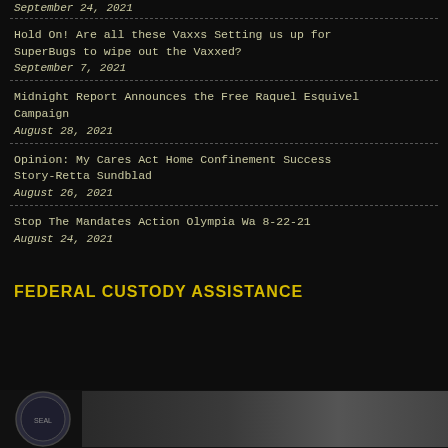September 24, 2021
Hold On! Are all these Vaxxs Setting us up for SuperBugs to wipe out the Vaxxed?
September 7, 2021
Midnight Report Announces the Free Raquel Esquivel Campaign
August 28, 2021
Opinion: My Cares Act Home Confinement Success Story-Retta Sundblad
August 26, 2021
Stop The Mandates Action Olympia Wa 8-22-21
August 24, 2021
FEDERAL CUSTODY ASSISTANCE
[Figure (photo): Partial view of circular logo/seal on left and dark photographic image on right at bottom of page]